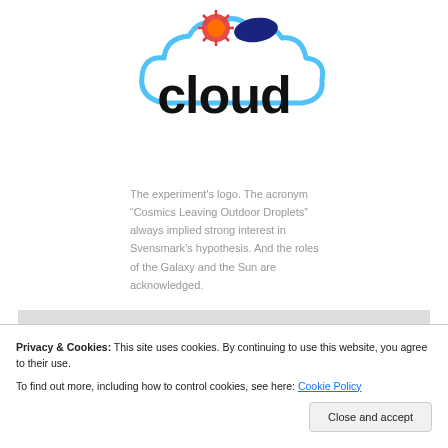[Figure (logo): CLOUD experiment logo: stylized cloud shape in light blue, with a red sun/star icon and dark blue oval (representing cosmic ray/planet) above the word 'cloud' in large black sans-serif text]
The experiment's logo. The acronym “Cosmics Leaving Outdoor Droplets” always implied strong interest in Svensmark’s hypothesis. And the roles of the Galaxy and the Sun are acknowledged.
Privacy & Cookies: This site uses cookies. By continuing to use this website, you agree to their use.
To find out more, including how to control cookies, see here: Cookie Policy